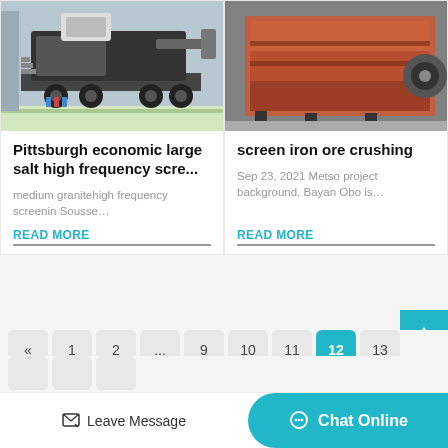[Figure (photo): Industrial mobile crushing/screening machine on a trailer in a factory setting]
Pittsburgh economic large salt high frequency scre...
medium granitehigh frequency screenin Sousse…
READ MORE
[Figure (photo): Large industrial metal screen/vibrating equipment viewed from side]
screen iron ore crushing
Sep 23, 2021 Metso project background. Bayan Obo is…
READ MORE
« 1 2 ... 9 10 11 12 13
Leave Message
Chat Online